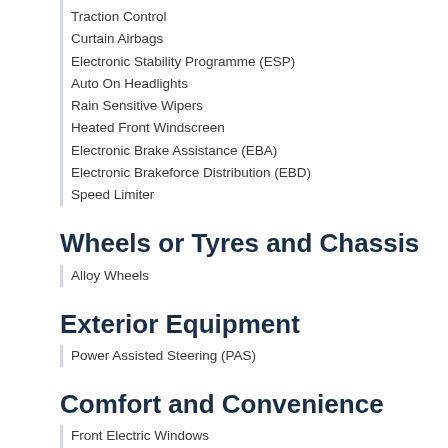Traction Control
Curtain Airbags
Electronic Stability Programme (ESP)
Auto On Headlights
Rain Sensitive Wipers
Heated Front Windscreen
Electronic Brake Assistance (EBA)
Electronic Brakeforce Distribution (EBD)
Speed Limiter
Wheels or Tyres and Chassis
Alloy Wheels
Exterior Equipment
Power Assisted Steering (PAS)
Comfort and Convenience
Front Electric Windows
Height Adjustable Drivers Seat
Steering Column - Adjustable
Fuel Computer
Split Rear Seats